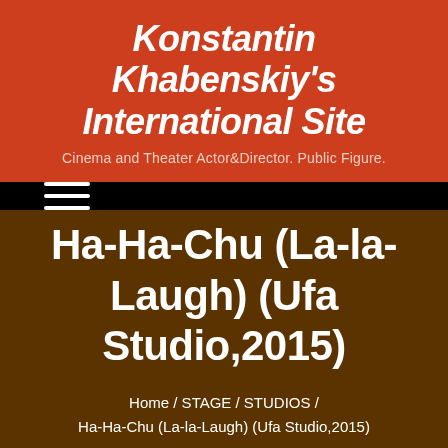Konstantin Khabenskiy's International Site
Cinema and Theater Actor&Director. Public Figure.
[Figure (other): Hamburger menu icon - three horizontal white lines on black background]
Ha-Ha-Chu (La-la-Laugh) (Ufa Studio,2015)
Home / STAGE / STUDIOS / Ha-Ha-Chu (La-la-Laugh) (Ufa Studio,2015)